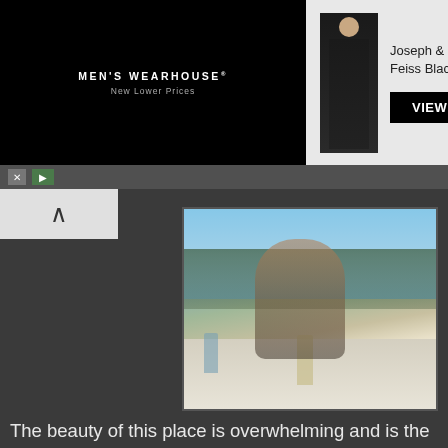[Figure (screenshot): Men's Wearhouse advertisement banner showing 'MEN'S WEARHOUSE New Lower Prices' on black background, center section with suit product photo labeled 'Joseph & Feiss Black...' with VIEW button, and right section showing couple in formal wear]
[Figure (photo): Woman in swimsuit sitting on boat deck holding a wine glass, with water and trees in background, another glass visible on the deck]
The beauty of this place is overwhelming and is the annual Mecca for all Pacific Northwest boaters which makes it anything but desolate. Captain Vancouver, however, didn't see it that way when he came through. For him the jagged mountains that seemed to rise straight out of the sea were a manifestation of how raw and primitive this land was compared to the